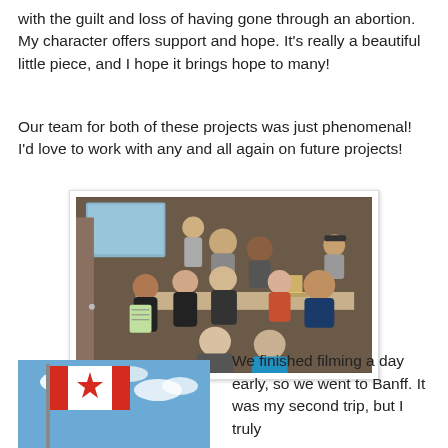with the guilt and loss of having gone through an abortion. My character offers support and hope. It's really a beautiful little piece, and I hope it brings hope to many!
Our team for both of these projects was just phenomenal! I'd love to work with any and all again on future projects!
[Figure (photo): Group photo of a film/production team of about 9 people gathered around a desk in an indoor setting with a screen visible in the background.]
[Figure (photo): Photo of a Canadian flag against a blue sky with clouds.]
We finished filming a day early, so we went to Banff. It was my second trip, but I truly